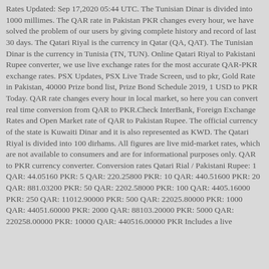Rates Updated: Sep 17,2020 05:44 UTC. The Tunisian Dinar is divided into 1000 millimes. The QAR rate in Pakistan PKR changes every hour, we have solved the problem of our users by giving complete history and record of last 30 days. The Qatari Riyal is the currency in Qatar (QA, QAT). The Tunisian Dinar is the currency in Tunisia (TN, TUN). Online Qatari Riyal to Pakistani Rupee converter, we use live exchange rates for the most accurate QAR-PKR exchange rates. PSX Updates, PSX Live Trade Screen, usd to pkr, Gold Rate in Pakistan, 40000 Prize bond list, Prize Bond Schedule 2019, 1 USD to PKR Today. QAR rate changes every hour in local market, so here you can convert real time conversion from QAR to PKR.Check InterBank, Foreign Exchange Rates and Open Market rate of QAR to Pakistan Rupee. The official currency of the state is Kuwaiti Dinar and it is also represented as KWD. The Qatari Riyal is divided into 100 dirhams. All figures are live mid-market rates, which are not available to consumers and are for informational purposes only. QAR to PKR currency converter. Conversion rates Qatari Rial / Pakistani Rupee: 1 QAR: 44.05160 PKR: 5 QAR: 220.25800 PKR: 10 QAR: 440.51600 PKR: 20 QAR: 881.03200 PKR: 50 QAR: 2202.58000 PKR: 100 QAR: 4405.16000 PKR: 250 QAR: 11012.90000 PKR: 500 QAR: 22025.80000 PKR: 1000 QAR: 44051.60000 PKR: 2000 QAR: 88103.20000 PKR: 5000 QAR: 220258.00000 PKR: 10000 QAR: 440516.00000 PKR Includes a live